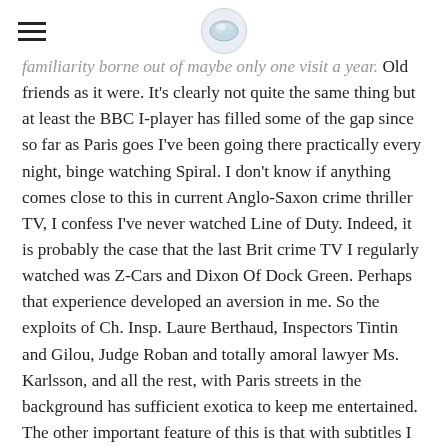[hamburger menu icon] [logo]
familiarity borne out of maybe only one visit a year. Old friends as it were. It's clearly not quite the same thing but at least the BBC I-player has filled some of the gap since so far as Paris goes I've been going there practically every night, binge watching Spiral. I don't know if anything comes close to this in current Anglo-Saxon crime thriller TV, I confess I've never watched Line of Duty. Indeed, it is probably the case that the last Brit crime TV I regularly watched was Z-Cars and Dixon Of Dock Green. Perhaps that experience developed an aversion in me. So the exploits of Ch. Insp. Laure Berthaud, Inspectors Tintin and Gilou, Judge Roban and totally amoral lawyer Ms. Karlsson, and all the rest, with Paris streets in the background has sufficient exotica to keep me entertained. The other important feature of this is that with subtitles I feel I'm able to keep up with the dialogue even if the sound recording sometimes might be dicky (and it doesn't help not to speak French). And now I can...